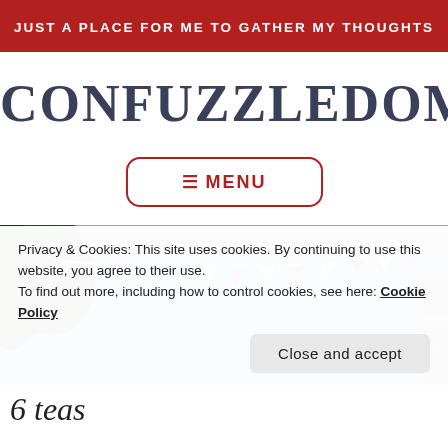JUST A PLACE FOR ME TO GATHER MY THOUGHTS
CONFUZZLEDOM
☰ MENU
[Figure (photo): Photo of water/harbor scene with red and white pennant flags strung on a line, with trees on the left and a dock or structure visible on the right edge.]
Privacy & Cookies: This site uses cookies. By continuing to use this website, you agree to their use. To find out more, including how to control cookies, see here: Cookie Policy
Close and accept
6 teas